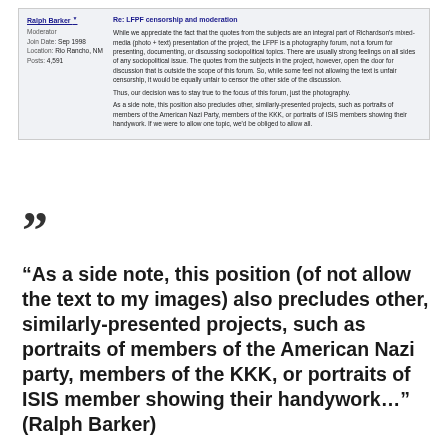[Figure (screenshot): Forum post screenshot from Ralph Barker (Moderator, joined Sep 1998, Rio Rancho NM, 4,591 posts) with subject 'Re: LFPF censorship and moderation'. The post discusses keeping the forum focused on photography rather than socio-political topics and explains why similarly-presented projects (American Nazi Party, KKK, ISIS portraits) would also be excluded.]
“As a side note, this position (of not allow the text to my images) also precludes other, similarly-presented projects, such as portraits of members of the American Nazi party, members of the KKK, or portraits of ISIS member showing their handywork…” (Ralph Barker)